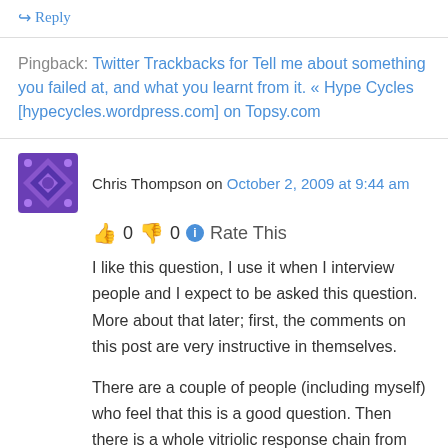↪ Reply
Pingback: Twitter Trackbacks for Tell me about something you failed at, and what you learnt from it. « Hype Cycles [hypecycles.wordpress.com] on Topsy.com
Chris Thompson on October 2, 2009 at 9:44 am
👍 0 👎 0 ℹ Rate This
I like this question, I use it when I interview people and I expect to be asked this question. More about that later; first, the comments on this post are very instructive in themselves.
There are a couple of people (including myself) who feel that this is a good question. Then there is a whole vitriolic response chain from others